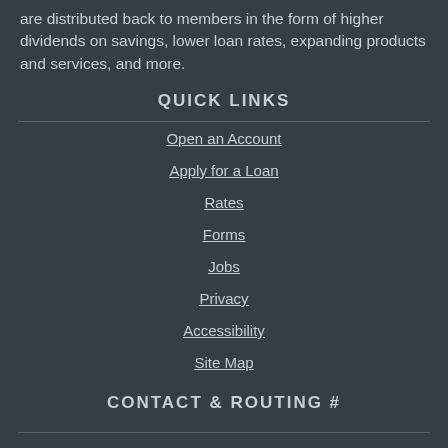are distributed back to members in the form of higher dividends on savings, lower loan rates, expanding products and services, and more.
QUICK LINKS
Open an Account
Apply for a Loan
Rates
Forms
Jobs
Privacy
Accessibility
Site Map
CONTACT & ROUTING #